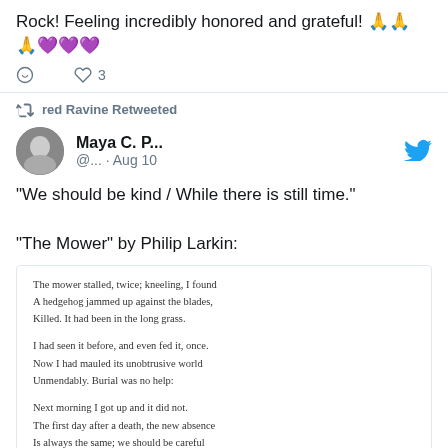Rock! Feeling incredibly honored and grateful! 🙏🙏🙏💜💜💜
3 likes
red Ravine Retweeted
Maya C. P... @... · Aug 10
"We should be kind / While there is still time."

"The Mower" by Philip Larkin:
[Figure (screenshot): Poem 'The Mower' by Philip Larkin embedded as an image card showing stanzas of the poem text.]